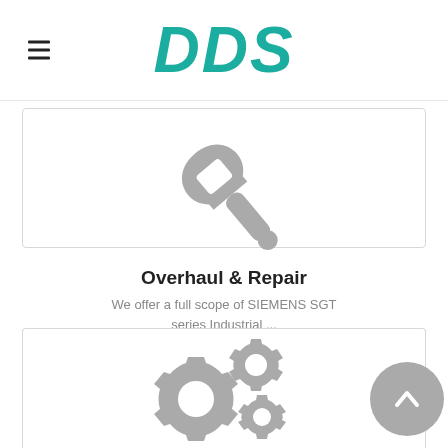DDS
[Figure (illustration): Wrench/spanner icon in gray, representing Overhaul & Repair services]
Overhaul & Repair
We offer a full scope of SIEMENS SGT series Industrial ...
READ MORE
[Figure (illustration): Two gray gear/cog icons representing engineering or maintenance services, second service card]